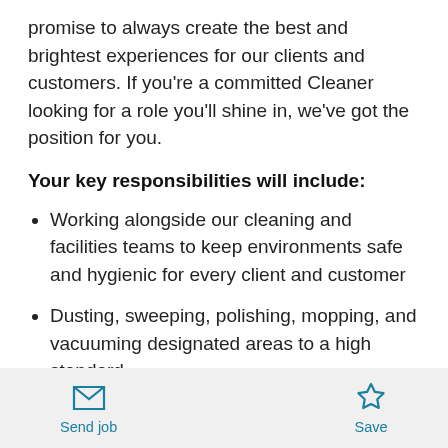promise to always create the best and brightest experiences for our clients and customers. If you're a committed Cleaner looking for a role you'll shine in, we've got the position for you.
Your key responsibilities will include:
Working alongside our cleaning and facilities teams to keep environments safe and hygienic for every client and customer
Dusting, sweeping, polishing, mopping, and vacuuming designated areas to a high standard
Ensuring surface areas, floors, windows, and other
Send job  Save